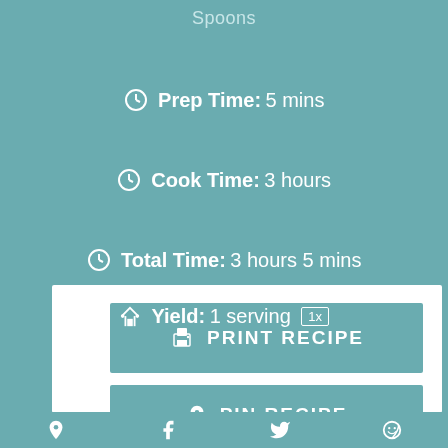Spoons
Prep Time: 5 mins
Cook Time: 3 hours
Total Time: 3 hours 5 mins
Yield: 1 serving 1x
PRINT RECIPE
PIN RECIPE